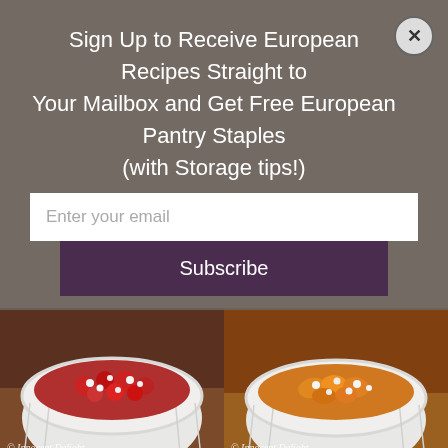Sign Up to Receive European Recipes Straight to Your Mailbox and Get Free European Pantry Staples (with Storage tips!)
[Figure (screenshot): Email subscription popup with text input and Subscribe button on a gray-brown background with a close (X) button]
[Figure (photo): Two photos side by side showing white ramekin bowls with food (left: red berries/strawberries with white cheese crumbles, right: roasted vegetables with white cheese), both watermarked with Innocent Delight]
I know it’s another dish with feta, but I will be completely honest here. If I’m getting low with my feta supply I’m getting nervous. It’s not that easy to find a very good quality feta, so when I